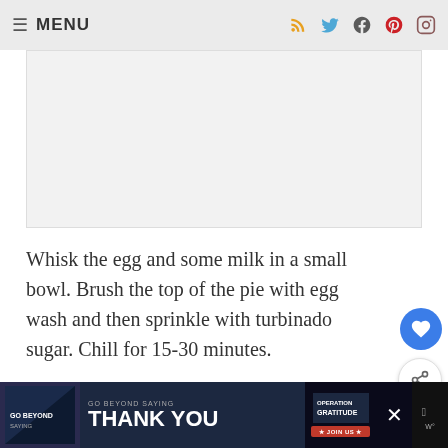≡ MENU
[Figure (photo): Image placeholder area, light gray background]
Whisk the egg and some milk in a small bowl. Brush the top of the pie with egg wash and then sprinkle with turbinado sugar. Chill for 15-30 minutes.
Preheat your oven and place the pie dish on a sheet and bake until your pie crust is golden brown and the...
[Figure (other): WHAT'S NEXT arrow - Chocolate Strawberry... thumbnail]
[Figure (other): GO BEYOND SAYING THANK YOU - Operation Gratitude advertisement banner]